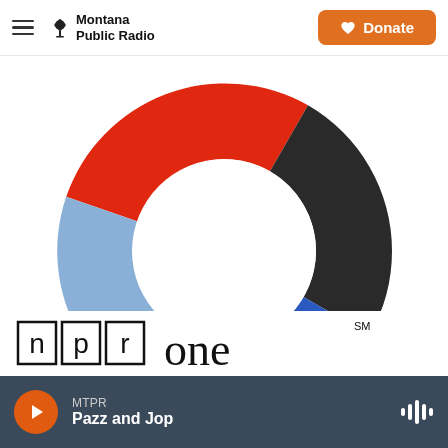Montana Public Radio | Donate
[Figure (donut-chart): NPR One donut chart with colored segments: red (upper left), dark gray (upper right), medium blue (right), light blue (lower left). White center creating donut shape.]
[Figure (logo): NPR One logo showing 'npr one SM' with npr in outlined boxes and 'one' in large serif font with SM superscript]
MTPR
Pazz and Jop